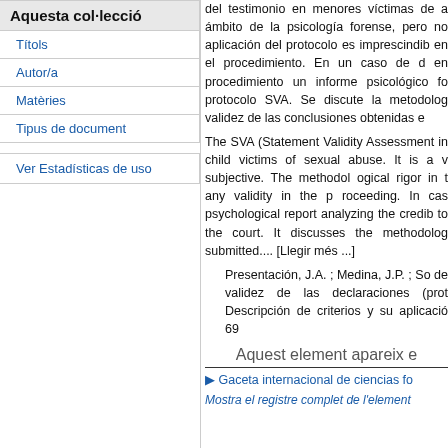Aquesta col·lecció
Títols
Autor/a
Matèries
Tipus de document
Ver Estadísticas de uso
del testimonio en menores víctimas de a ámbito de la psicología forense, pero no aplicación del protocolo es imprescindib en el procedimiento. En un caso de d en procedimiento un informe psicológico fo protocolo SVA. Se discute la metodolog validez de las conclusiones obtenidas e
The SVA (Statement Validity Assessment in child victims of sexual abuse. It is a v subjective. The methodol ogical rigor in t any validity in the p roceeding. In cas psychological report analyzing the credib to the court. It discusses the methodolog submitted.... [Llegir més ...]
Presentación, J.A. ; Medina, J.P. ; So de validez de las declaraciones (prot Descripción de criterios y su aplicació 69
Aquest element apareix e
▶ Gaceta internacional de ciencias fo
Mostra el registre complet de l'element